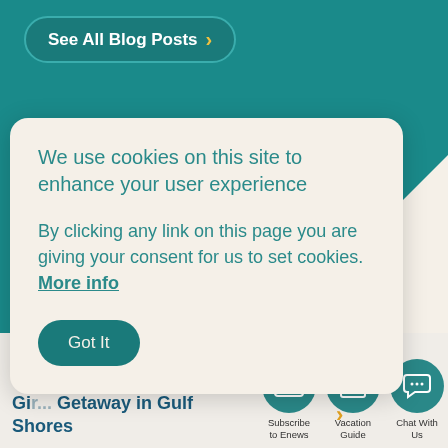[Figure (screenshot): Teal/dark cyan background at top of webpage]
See All Blog Posts >
We use cookies on this site to enhance your user experience
By clicking any link on this page you are giving your consent for us to set cookies. More info
Got It
Waves, Wel... Wine - A Gir... Getaway in Gulf Shores
Subscribe to Enews
Vacation Guide
Chat With Us